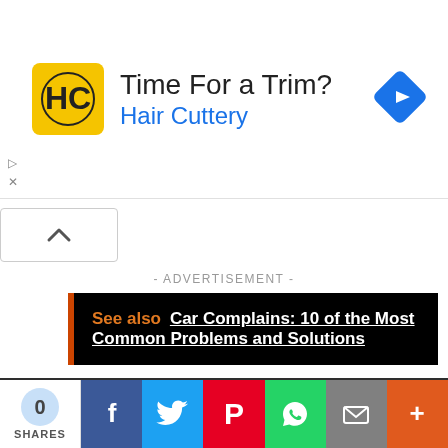[Figure (screenshot): Advertisement banner for Hair Cuttery salon with logo, title 'Time For a Trim?', subtitle 'Hair Cuttery', navigation arrow icon, and ad controls (play/close)]
[Figure (screenshot): Arrow up chevron button/widget]
- ADVERTISEMENT -
See also  Car Complains: 10 of the Most Common Problems and Solutions
Cheerio, Read more of our posts on different car hacks and tips.
This site uses cookies. By continuing to browse the site, you are agreeing to our use of cookies.
Used A...
[Figure (screenshot): Social share bar with share count (0 SHARES), Facebook, Twitter, Pinterest, WhatsApp, Email, and More buttons]